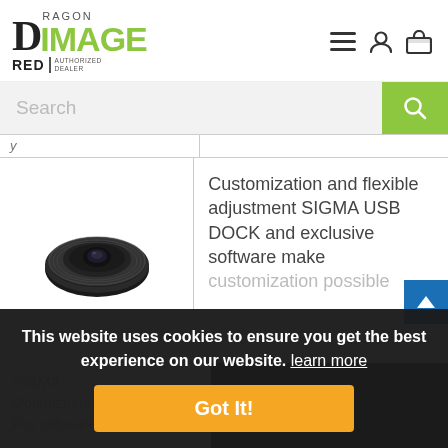[Figure (logo): Dragon Image RED Authorized Dealer logo with green IMAGE text]
[Figure (infographic): Navigation icons: hamburger menu, user account, shopping bag]
Search
Customization and flexible adjustment SIGMA USB DOCK and exclusive software make customization possible
[Figure (photo): Sigma USB Dock lens accessory, circular black device viewed from above]
SIGMA Optimization Pro software
This website uses cookies to ensure you get the best experience on our website. learn more
Got It!